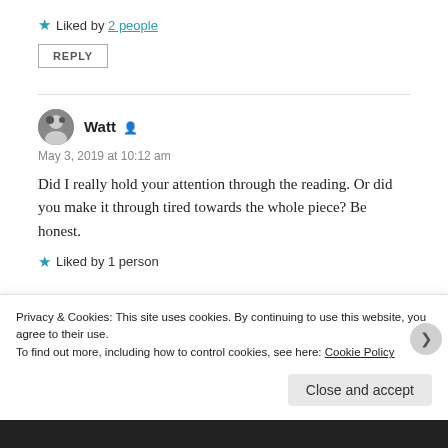★ Liked by 2 people
REPLY
Watt
May 3, 2019 at 10:12 am
Did I really hold your attention through the reading. Or did you make it through tired towards the whole piece? Be honest.
★ Liked by 1 person
Privacy & Cookies: This site uses cookies. By continuing to use this website, you agree to their use.
To find out more, including how to control cookies, see here: Cookie Policy
Close and accept